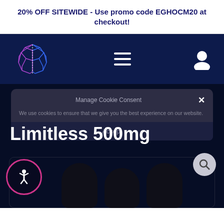20% OFF SITEWIDE - Use promo code EGHOCM20 at checkout!
[Figure (screenshot): Dark navy navigation bar with geometric brain logo on the left, hamburger menu in the center, and user profile icon on the right, on a dark blue (#0d1b4b) background.]
Manage Cookie Consent
We use cookies to ensure that we give you the best experience on our website.
Limitless 500mg
Accept
[Figure (photo): Three dark capsule/pill-shaped supplement products partially visible at the bottom of the page against a dark navy background.]